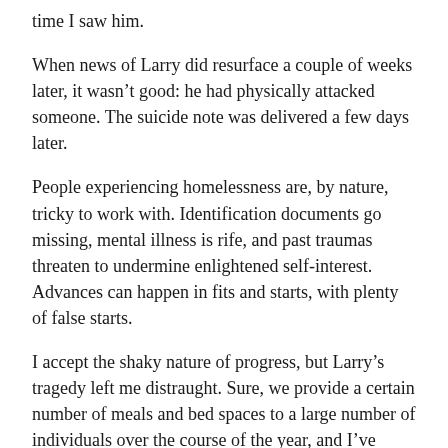time I saw him.
When news of Larry did resurface a couple of weeks later, it wasn’t good: he had physically attacked someone. The suicide note was delivered a few days later.
People experiencing homelessness are, by nature, tricky to work with. Identification documents go missing, mental illness is rife, and past traumas threaten to undermine enlightened self-interest. Advances can happen in fits and starts, with plenty of false starts.
I accept the shaky nature of progress, but Larry’s tragedy left me distraught. Sure, we provide a certain number of meals and bed spaces to a large number of individuals over the course of the year, and I’ve always thought that was a positive end in itself. Some of those people may have died without a way to get out of the freezing cold. But did it really add up?
Outputs versus Outcomes